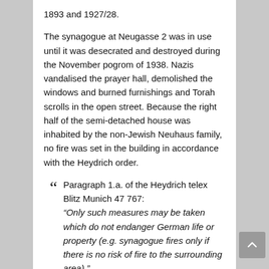1893 and 1927/28.
The synagogue at Neugasse 2 was in use until it was desecrated and destroyed during the November pogrom of 1938. Nazis vandalised the prayer hall, demolished the windows and burned furnishings and Torah scrolls in the open street. Because the right half of the semi-detached house was inhabited by the non-Jewish Neuhaus family, no fire was set in the building in accordance with the Heydrich order.
Paragraph 1.a. of the Heydrich telex Blitz Munich 47 767:
“Only such measures may be taken which do not endanger German life or property (e.g. synagogue fires only if there is no risk of fire to the surrounding area).”
The building became the property of the local community. In 1960 it was sold and misused as a painter’s workshop and storage room. In 1971, the town bought back the dilapidated house, which was